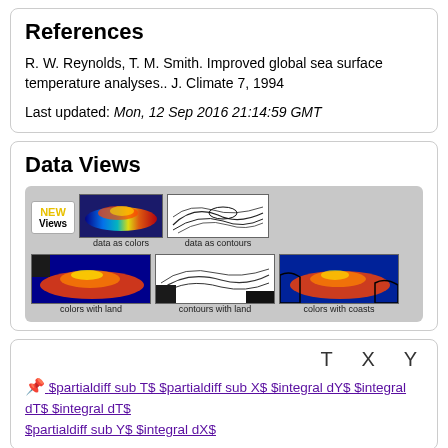References
R. W. Reynolds, T. M. Smith. Improved global sea surface temperature analyses.. J. Climate 7, 1994
Last updated: Mon, 12 Sep 2016 21:14:59 GMT
Data Views
[Figure (screenshot): Data Views panel showing 5 thumbnail map views: 'data as colors' (thermal color map), 'data as contours' (contour map), 'colors with land', 'contours with land', 'colors with coasts', plus a NEW Views badge]
T X Y
📌 $partialdiff sub T$ $partialdiff sub X$ $integral dY$ $integral dT$ $integral dT$ $partialdiff sub Y$ $integral dX$